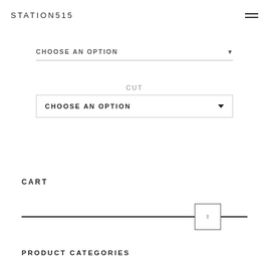STATION515
CHOOSE AN OPTION
CUT
CHOOSE AN OPTION
CART
PRODUCT CATEGORIES